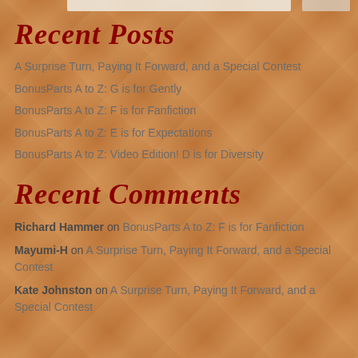Recent Posts
A Surprise Turn, Paying It Forward, and a Special Contest
BonusParts A to Z: G is for Gently
BonusParts A to Z: F is for Fanfiction
BonusParts A to Z: E is for Expectations
BonusParts A to Z: Video Edition! D is for Diversity
Recent Comments
Richard Hammer on BonusParts A to Z: F is for Fanfiction
Mayumi-H on A Surprise Turn, Paying It Forward, and a Special Contest
Kate Johnston on A Surprise Turn, Paying It Forward, and a Special Contest